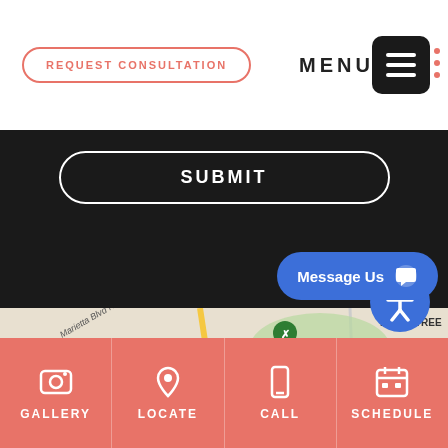REQUEST CONSULTATION
MENU
SUBMIT
[Figure (screenshot): Accessibility icon - blue circle with white person figure]
[Figure (map): Google Maps screenshot showing Bobby Jones Golf Course, Underwood Hills, Piedmont, Marietta Blvd NW, I-75]
Message Us
GALLERY
LOCATE
CALL
SCHEDULE